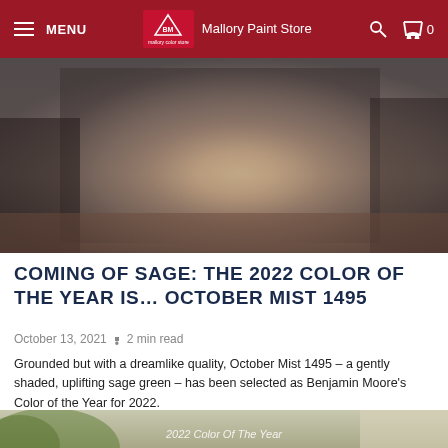MENU | Benjamin Moore — Mallory Paint Store
[Figure (photo): Blurred interior room photo with warm brownish-grey tones, dark cabinetry visible]
COMING OF SAGE: THE 2022 COLOR OF THE YEAR IS… OCTOBER MIST 1495
October 13, 2021 • 2 min read
Grounded but with a dreamlike quality, October Mist 1495 – a gently shaded, uplifting sage green – has been selected as Benjamin Moore's Color of the Year for 2022.
READ MORE
[Figure (photo): Bottom partial image showing greenery on left and a warm beige/sage room scene with text '2022 Color Of The Year' partially visible]